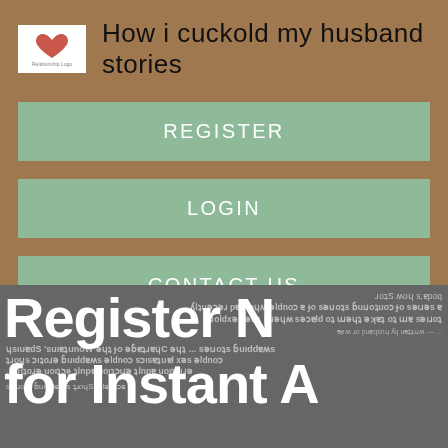[Figure (logo): Small website logo with red heart graphic on white background]
How i cuckold my husband stories
REGISTER
LOGIN
CONTACT US
[Figure (screenshot): Background screenshot of a registration page with text overlaid by large white 'Register N... for Instant A...' text. Background shows mirrored/flipped article text about swapping and erotic stories.]